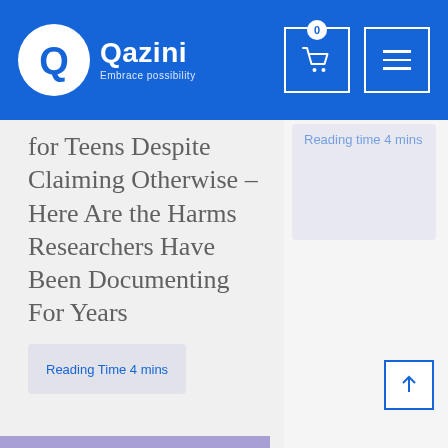Qazini – Embrace possibility
for Teens Despite Claiming Otherwise – Here Are the Harms Researchers Have Been Documenting For Years
Reading Time 4 mins
Reading Time 4 mins